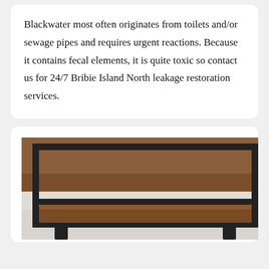Blackwater most often originates from toilets and/or sewage pipes and requires urgent reactions. Because it contains fecal elements, it is quite toxic so contact us for 24/7 Bribie Island North leakage restoration services.
[Figure (photo): Photo of a brown leather sofa/chair with a dark metal frame, viewed from behind/below, showing the metal structural frame including horizontal and vertical bars.]